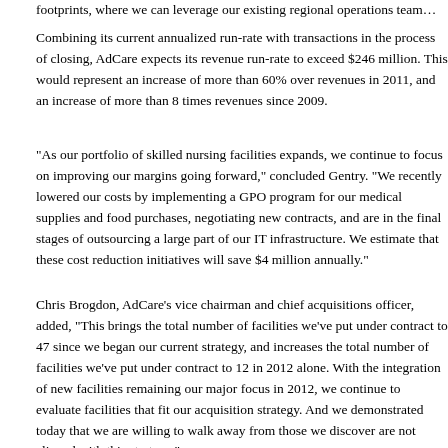footprints, where we can leverage our existing regional operations team…
Combining its current annualized run-rate with transactions in the process of closing, AdCare expects its revenue run-rate to exceed $246 million. This would represent an increase of more than 60% over revenues in 2011, and an increase of more than 8 times revenues since 2009.
“As our portfolio of skilled nursing facilities expands, we continue to focus on improving our margins going forward,” concluded Gentry. “We recently lowered our costs by implementing a GPO program for our medical supplies and food purchases, negotiating new contracts, and are in the final stages of outsourcing a large part of our IT infrastructure. We estimate that these cost reduction initiatives will save $4 million annually.”
Chris Brogdon, AdCare’s vice chairman and chief acquisitions officer, added, “This brings the total number of facilities we’ve put under contract to 47 since we began our current strategy, and increases the total number of facilities we’ve put under contract to 12 in 2012 alone. With the integration of new facilities remaining our major focus in 2012, we continue to evaluate facilities that fit our acquisition strategy. And we demonstrated today that we are willing to walk away from those we discover are not aligned with this strategy.”
Let us hear your thoughts below:
This entry was posted in AdCare Health Systems Inc, ADK. Bookmark the perm…